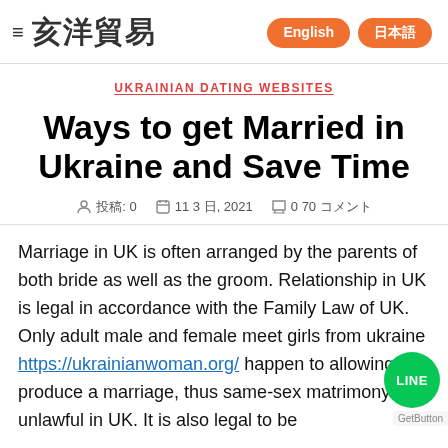≡ 亥洋貿易 | English | 日本語
UKRAINIAN DATING WEBSITES
Ways to get Married in Ukraine and Save Time
投稿: 0 | 11 3 日, 2021 | 0 70 コメント
Marriage in UK is often arranged by the parents of both bride as well as the groom. Relationship in UK is legal in accordance with the Family Law of UK. Only adult male and female meet girls from ukraine https://ukrainianwoman.org/ happen to allowing to produce a marriage, thus same-sex matrimony is unlawful in UK. It is also legal to be